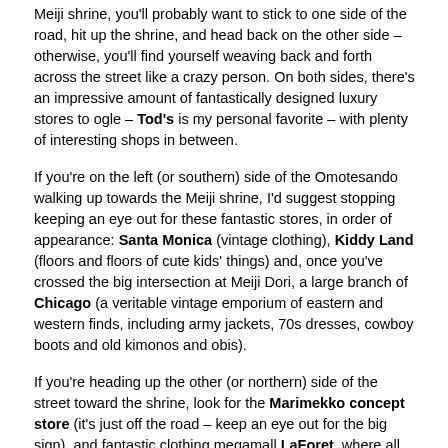Meiji shrine, you'll probably want to stick to one side of the road, hit up the shrine, and head back on the other side – otherwise, you'll find yourself weaving back and forth across the street like a crazy person. On both sides, there's an impressive amount of fantastically designed luxury stores to ogle – Tod's is my personal favorite – with plenty of interesting shops in between.
If you're on the left (or southern) side of the Omotesando walking up towards the Meiji shrine, I'd suggest stopping keeping an eye out for these fantastic stores, in order of appearance: Santa Monica (vintage clothing), Kiddy Land (floors and floors of cute kids' things) and, once you've crossed the big intersection at Meiji Dori, a large branch of Chicago (a veritable vintage emporium of eastern and western finds, including army jackets, 70s dresses, cowboy boots and old kimonos and obis).
If you're heading up the other (or northern) side of the street toward the shrine, look for the Marimekko concept store (it's just off the road – keep an eye out for the big sign), and fantastic clothing megamall LaForet, where all the cool kids shop (it's just a few feet off of the corner of the intersection with Meiji Dori. Look for the big Topshop signs!). Also on this side of the street while walking towards the shrine, you can turn right down any of the little streets before you hit the Meiji Dori intersection and find yourself in the fantastic Harajuku neighborhood. There's a large amount of interesting fashion